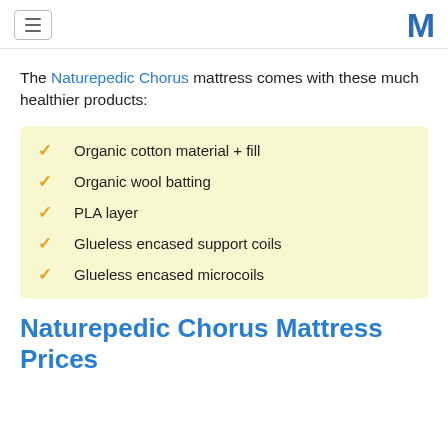[hamburger menu icon] [M logo]
The Naturepedic Chorus mattress comes with these much healthier products:
Organic cotton material + fill
Organic wool batting
PLA layer
Glueless encased support coils
Glueless encased microcoils
Naturepedic Chorus Mattress Prices